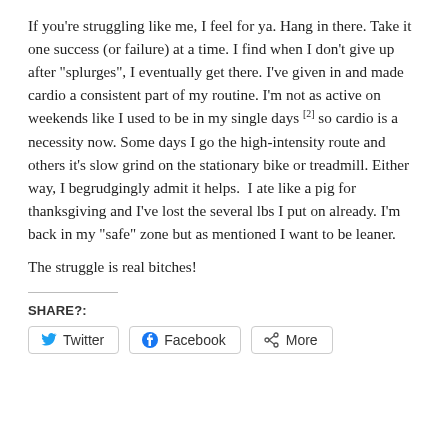If you're struggling like me, I feel for ya. Hang in there. Take it one success (or failure) at a time. I find when I don't give up after "splurges", I eventually get there. I've given in and made cardio a consistent part of my routine. I'm not as active on weekends like I used to be in my single days [2] so cardio is a necessity now. Some days I go the high-intensity route and others it's slow grind on the stationary bike or treadmill. Either way, I begrudgingly admit it helps.  I ate like a pig for thanksgiving and I've lost the several lbs I put on already. I'm back in my "safe" zone but as mentioned I want to be leaner.
The struggle is real bitches!
SHARE?: